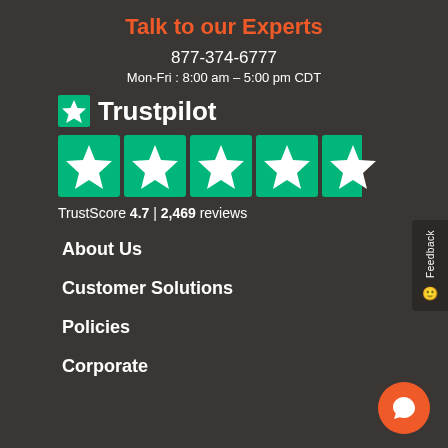Talk to our Experts
877-374-6777
Mon-Fri : 8:00 am - 5:00 pm CDT
[Figure (logo): Trustpilot logo with green star and text 'Trustpilot', followed by 5 green star rating boxes (4.7 out of 5), with TrustScore 4.7 | 2,469 reviews]
About Us
Customer Solutions
Policies
Corporate